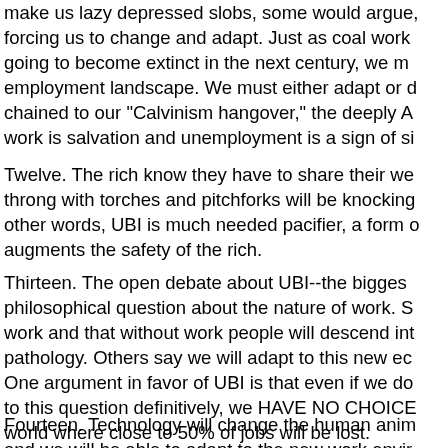make us lazy depressed slobs, some would argue, forcing us to change and adapt. Just as coal workers are going to become extinct in the next century, we must adapt employment landscape. We must either adapt or die, chained to our "Calvinism hangover," the deeply American work is salvation and unemployment is a sign of si
Twelve. The rich know they have to share their wealth or a throng with torches and pitchforks will be knocking at their other words, UBI is much needed pacifier, a form of hush money that augments the safety of the rich.
Thirteen. The open debate about UBI--the biggest philosophical question about the nature of work. Some say people need work and that without work people will descend into pathology. Others say we will adapt to this new economy naturally. One argument in favor of UBI is that even if we don't know the answer to this question definitively, we HAVE NO CHOICE in a world where close to 50% of jobs will be lost.
Fourteen. Technology will change the human animal for the better and we will be able to adapt to the new work environment.